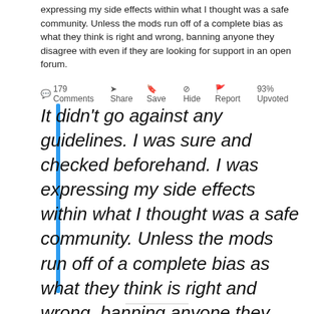expressing my side effects within what I thought was a safe community. Unless the mods run off of a complete bias as what they think is right and wrong, banning anyone they disagree with even if they are looking for support in an open forum.
179 Comments  Share  Save  Hide  Report  93% Upvoted
It didn't go against any guidelines. I was sure and checked beforehand. I was expressing my side effects within what I thought was a safe community. Unless the mods run off of a complete bias as what they think is right and wrong, banning anyone they disagree with even if they are looking for support in an open forum.